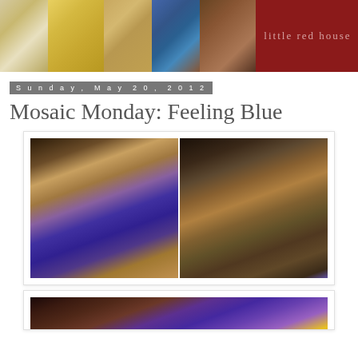[Figure (photo): Blog header banner with 5 photos side by side: white soup dish, yellow roses, wooden bowl on table, winter outdoor scene with sunset, cozy fireplace room interior, plus dark red title box reading 'little red house']
Sunday, May 20, 2012
Mosaic Monday: Feeling Blue
[Figure (photo): Two-panel mosaic photo: left panel shows purple/blue flowers in a small dark vase on a book, right panel shows an open book with a small purple flower on its pages, dark bokeh background]
[Figure (photo): Partial second mosaic photo showing purple and yellow flowers against a dark background, cropped at bottom of page]